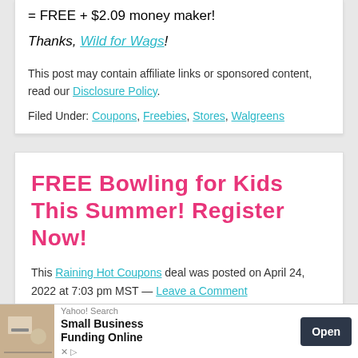= FREE + $2.09 money maker!
Thanks, Wild for Wags!
This post may contain affiliate links or sponsored content, read our Disclosure Policy.
Filed Under: Coupons, Freebies, Stores, Walgreens
FREE Bowling for Kids This Summer! Register Now!
This Raining Hot Coupons deal was posted on April 24, 2022 at 7:03 pm MST — Leave a Comment
[Figure (screenshot): Yahoo! Search advertisement banner for Small Business Funding Online with Open button]